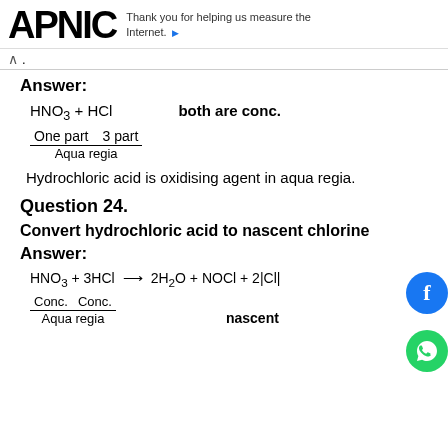APNIC — Thank you for helping us measure the Internet.
.
Answer:
Hydrochloric acid is oxidising agent in aqua regia.
Question 24.
Convert hydrochloric acid to nascent chlorine
Answer: